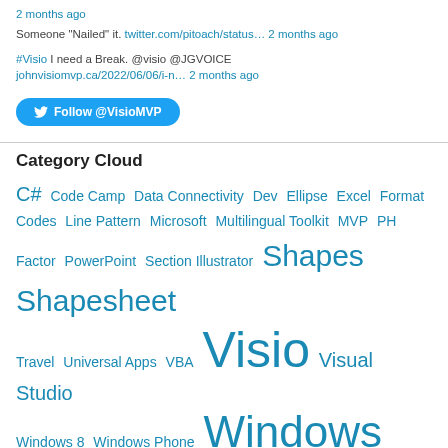2 months ago
Someone "Nailed" it. twitter.com/pitoach/status… 2 months ago
#Visio I need a Break. @visio @JGVOICE johnvisiomvp.ca/2022/06/06/i-n… 2 months ago
Follow @VisioMVP
Category Cloud
C#  Code Camp  Data Connectivity  Dev  Ellipse  Excel  Format Codes  Line Pattern  Microsoft  Multilingual Toolkit  MVP  PH Factor  PowerPoint  Section Illustrator  Shapes  Shapesheet  Travel  Universal Apps  VBA  Visio  Visual Studio  Windows 8  Windows Phone  Windows Phone 7